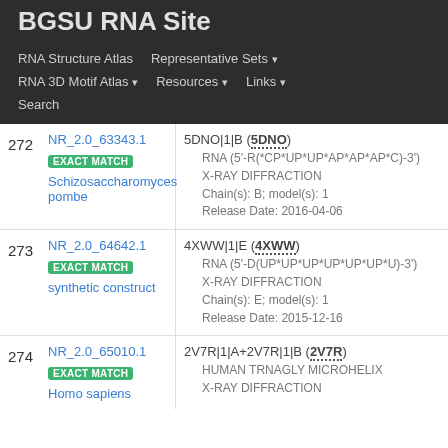BGSU RNA Site
RNA Structure Atlas | Representative Sets | RNA 3D Motif Atlas | Resources | Links | Search
| # | NR ID / Match / Organism | PDB Entry / Details |
| --- | --- | --- |
| 272 | NR_2.0_63343.1 EXACT MATCH Schizosaccharomyces pombe | 5DNO|1|B (5DNO) • RNA (5'-R(*CP*UP*UP*AP*AP*AP*C)-3') • X-RAY DIFFRACTION • Chain(s): B; model(s): 1 • Release Date: 2016-04-06 |
| 273 | NR_2.0_64642.1 EXACT MATCH synthetic construct | 4XWW|1|E (4XWW) • RNA (5'-D(UP*UP*UP*UP*UP*UP*U)-3') • X-RAY DIFFRACTION • Chain(s): E; model(s): 1 • Release Date: 2015-12-16 |
| 274 | NR_2.0_65010.1 EXACT MATCH Homo sapiens | 2V7R|1|A+2V7R|1|B (2V7R) • HUMAN TRNAGLY MICROHELIX • X-RAY DIFFRACTION |